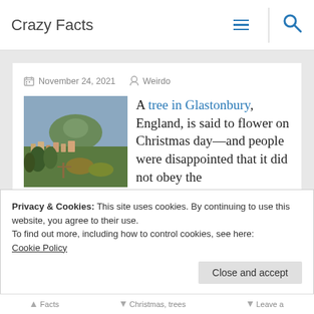Crazy Facts
November 24, 2021   Weirdo
[Figure (photo): Aerial landscape photo of Glastonbury, England, showing green hills and a town]
A tree in Glastonbury, England, is said to flower on Christmas day—and people were disappointed that it did not obey the
Privacy & Cookies: This site uses cookies. By continuing to use this website, you agree to their use.
To find out more, including how to control cookies, see here:
Cookie Policy
Facts   Christmas, trees   Leave a